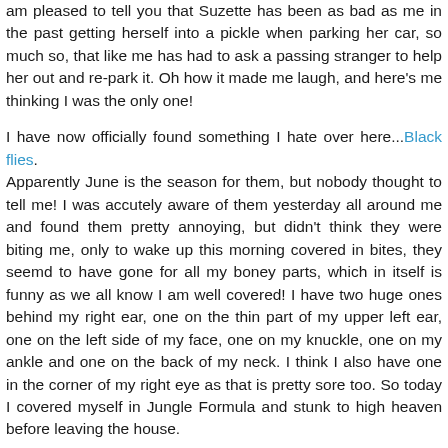am pleased to tell you that Suzette has been as bad as me in the past getting herself into a pickle when parking her car, so much so, that like me has had to ask a passing stranger to help her out and re-park it. Oh how it made me laugh, and here's me thinking I was the only one!
I have now officially found something I hate over here...Black flies. Apparently June is the season for them, but nobody thought to tell me! I was accutely aware of them yesterday all around me and found them pretty annoying, but didn't think they were biting me, only to wake up this morning covered in bites, they seemd to have gone for all my boney parts, which in itself is funny as we all know I am well covered! I have two huge ones behind my right ear, one on the thin part of my upper left ear, one on the left side of my face, one on my knuckle, one on my ankle and one on the back of my neck. I think I also have one in the corner of my right eye as that is pretty sore too. So today I covered myself in Jungle Formula and stunk to high heaven before leaving the house.
On a lighter note I have been learning how to pronounce